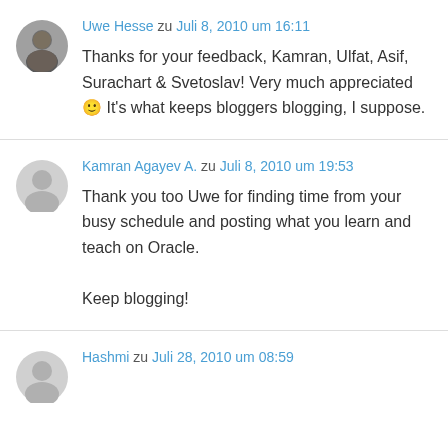Uwe Hesse zu Juli 8, 2010 um 16:11
Thanks for your feedback, Kamran, Ulfat, Asif, Surachart & Svetoslav! Very much appreciated 🙂 It's what keeps bloggers blogging, I suppose.
Kamran Agayev A. zu Juli 8, 2010 um 19:53
Thank you too Uwe for finding time from your busy schedule and posting what you learn and teach on Oracle.

Keep blogging!
Hashmi zu Juli 28, 2010 um 08:59